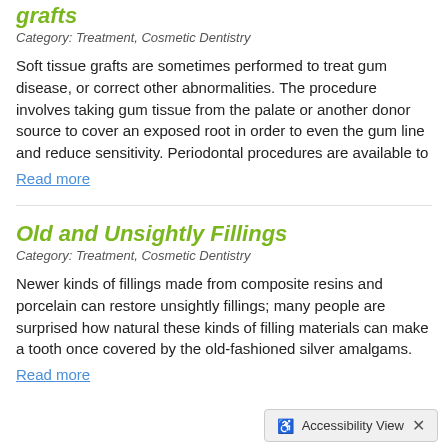grafts
Category: Treatment, Cosmetic Dentistry
Soft tissue grafts are sometimes performed to treat gum disease, or correct other abnormalities. The procedure involves taking gum tissue from the palate or another donor source to cover an exposed root in order to even the gum line and reduce sensitivity. Periodontal procedures are available to
Read more
Old and Unsightly Fillings
Category: Treatment, Cosmetic Dentistry
Newer kinds of fillings made from composite resins and porcelain can restore unsightly fillings; many people are surprised how natural these kinds of filling materials can make a tooth once covered by the old-fashioned silver amalgams.
Read more